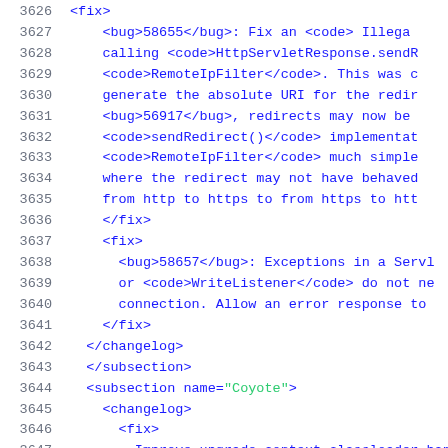Code listing lines 3626-3647 showing XML changelog entries with fix elements, bug references, and code tags for Apache Tomcat source